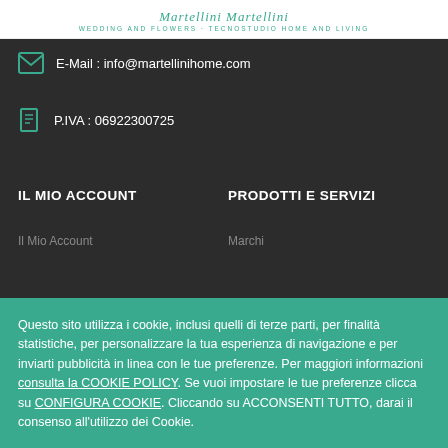Martellini Home - Wedding and Flowers · TecnoStudio Home and Living
E-Mail : info@martellinihome.com
P.IVA : 06922300725
IL MIO ACCOUNT
PRODOTTI E SERVIZI
Il Mio Account
Marchi
Questo sito utilizza i cookie, inclusi quelli di terze parti, per finalità statistiche, per personalizzare la tua esperienza di navigazione e per inviarti pubblicità in linea con le tue preferenze. Per maggiori informazioni consulta la COOKIE POLICY. Se vuoi impostare le tue preferenze clicca su CONFIGURA COOKIE. Cliccando su ACCONSENTI TUTTO, darai il consenso all'utilizzo dei Cookie.
Acconsenti Tutto
Rifiuta